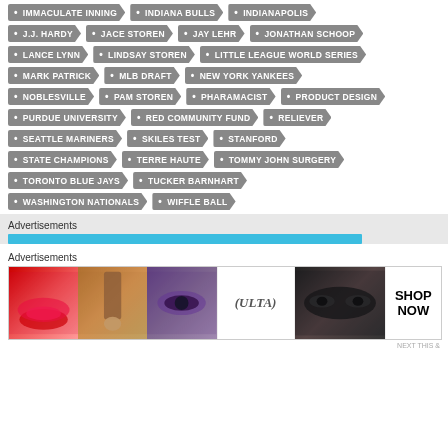IMMACULATE INNING
INDIANA BULLS
INDIANAPOLIS
J.J. HARDY
JACE STOREN
JAY LEHR
JONATHAN SCHOOP
LANCE LYNN
LINDSAY STOREN
LITTLE LEAGUE WORLD SERIES
MARK PATRICK
MLB DRAFT
NEW YORK YANKEES
NOBLESVILLE
PAM STOREN
PHARAMACIST
PRODUCT DESIGN
PURDUE UNIVERSITY
RED COMMUNITY FUND
RELIEVER
SEATTLE MARINERS
SKILES TEST
STANFORD
STATE CHAMPIONS
TERRE HAUTE
TOMMY JOHN SURGERY
TORONTO BLUE JAYS
TUCKER BARNHART
WASHINGTON NATIONALS
WIFFLE BALL
Advertisements
[Figure (other): Blue loading/progress bar under advertisement label]
Advertisements
[Figure (other): ULTA beauty advertisement banner with makeup images and SHOP NOW button]